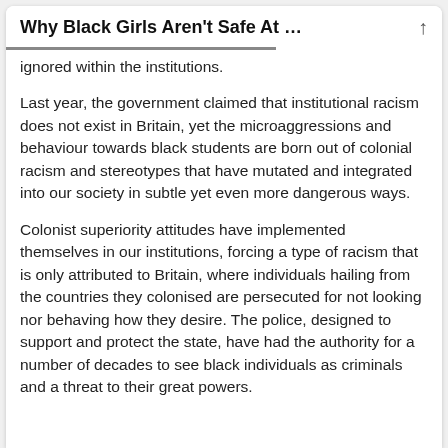Why Black Girls Aren't Safe At …
ignored within the institutions.
Last year, the government claimed that institutional racism does not exist in Britain, yet the microaggressions and behaviour towards black students are born out of colonial racism and stereotypes that have mutated and integrated into our society in subtle yet even more dangerous ways.
Colonist superiority attitudes have implemented themselves in our institutions, forcing a type of racism that is only attributed to Britain, where individuals hailing from the countries they colonised are persecuted for not looking nor behaving how they desire. The police, designed to support and protect the state, have had the authority for a number of decades to see black individuals as criminals and a threat to their great powers.